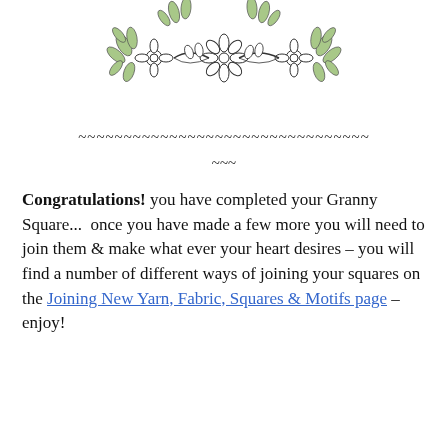[Figure (illustration): Crochet granny square illustration with green and white yarn pattern, shown from above with floral/leaf motifs]
~~~~~~~~~~~~~~~~~~~~~~~~~~~~~~~~
~~~
Congratulations! you have completed your Granny Square...  once you have made a few more you will need to join them & make what ever your heart desires – you will find a number of different ways of joining your squares on the Joining New Yarn, Fabric, Squares & Motifs page – enjoy!